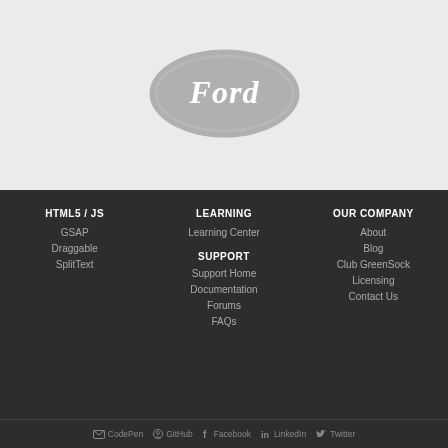[Figure (logo): Ford oval logo in gray on light gray background]
HTML5 / JS
GSAP
Draggable
SplitText
LEARNING
Learning Center
SUPPORT
Support Home
Documentation
Forums
FAQs
OUR COMPANY
About
Blog
Club GreenSock
Licensing
Contact Us
CodePen  GitHub  Facebook  LinkedIn  Twitter